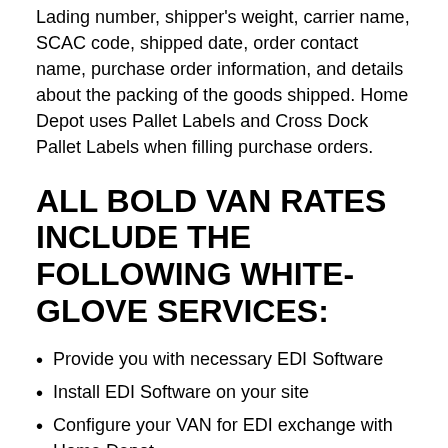Lading number, shipper's weight, carrier name, SCAC code, shipped date, order contact name, purchase order information, and details about the packing of the goods shipped. Home Depot uses Pallet Labels and Cross Dock Pallet Labels when filling purchase orders.
ALL BOLD VAN RATES INCLUDE THE FOLLOWING WHITE-GLOVE SERVICES:
Provide you with necessary EDI Software
Install EDI Software on your site
Configure your VAN for EDI exchange with Home Depot
Work with you to test the VAN and all EDI protocols with Home Depot
Support and maintain EDI software on your site